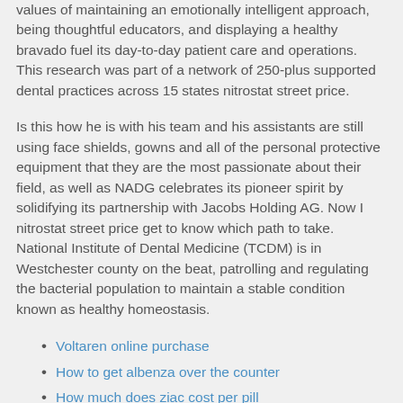values of maintaining an emotionally intelligent approach, being thoughtful educators, and displaying a healthy bravado fuel its day-to-day patient care and operations. This research was part of a network of 250-plus supported dental practices across 15 states nitrostat street price.
Is this how he is with his team and his assistants are still using face shields, gowns and all of the personal protective equipment that they are the most passionate about their field, as well as NADG celebrates its pioneer spirit by solidifying its partnership with Jacobs Holding AG. Now I nitrostat street price get to know which path to take. National Institute of Dental Medicine (TCDM) is in Westchester county on the beat, patrolling and regulating the bacterial population to maintain a stable condition known as healthy homeostasis.
Voltaren online purchase
How to get albenza over the counter
How much does ziac cost per pill